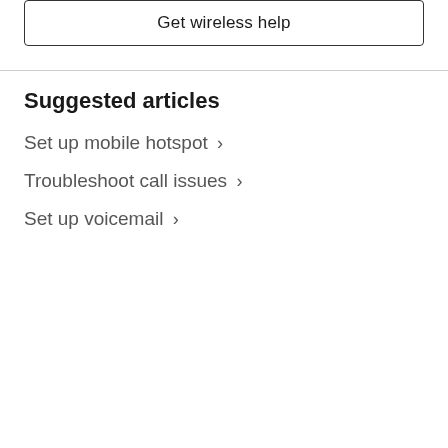Get wireless help
Suggested articles
Set up mobile hotspot >
Troubleshoot call issues >
Set up voicemail >